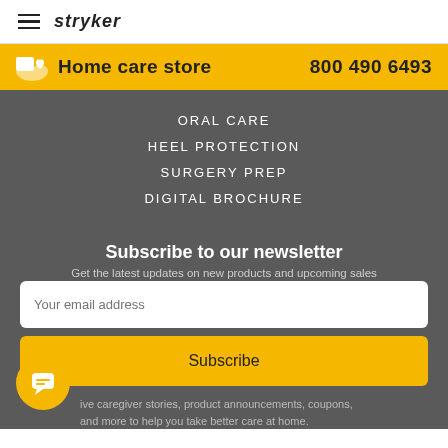stryker
Home care store  800 490 6493
ORAL CARE
HEEL PROTECTION
SURGERY PREP
DIGITAL BROCHURE
Subscribe to our newsletter
Get the latest updates on new products and upcoming sales
Your email address
Subscribe
ive caregiver stories, product announcements, coupons, and more to help you take better care at home.